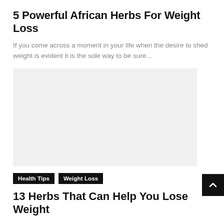5 Powerful African Herbs For Weight Loss
If you come across a moment in your life when the desire to shed weight is evident it is the sole way to be sure...
[Figure (other): Gray placeholder image box]
Health Tips
Weight Loss
13 Herbs That Can Help You Lose Weight